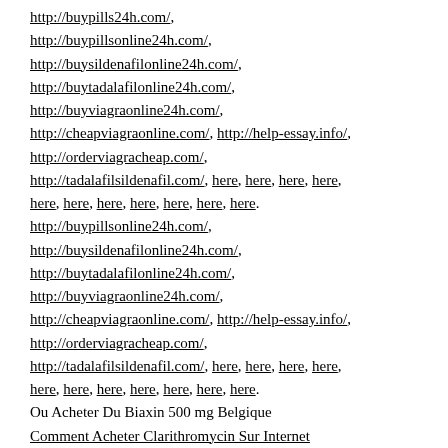http://buypills24h.com/, http://buypillsonline24h.com/, http://buysildenafilonline24h.com/, http://buytadalafilonline24h.com/, http://buyviagraonline24h.com/, http://cheapviagraonline.com/, http://help-essay.info/, http://orderviagracheap.com/, http://tadalafilsildenafil.com/, here, here, here, here, here, here, here, here, here, here, here. http://buypillsonline24h.com/, http://buysildenafilonline24h.com/, http://buytadalafilonline24h.com/, http://buyviagraonline24h.com/, http://cheapviagraonline.com/, http://help-essay.info/, http://orderviagracheap.com/, http://tadalafilsildenafil.com/, here, here, here, here, here, here, here, here, here, here, here. Ou Acheter Du Biaxin 500 mg Belgique